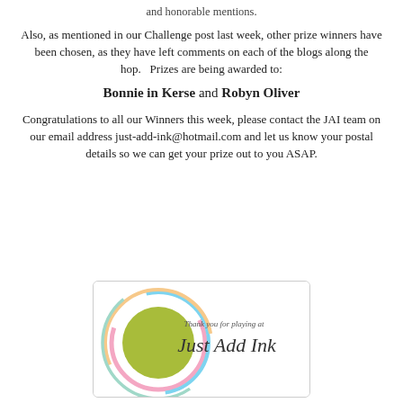and honorable mentions.
Also, as mentioned in our Challenge post last week, other prize winners have been chosen, as they have left comments on each of the blogs along the hop.   Prizes are being awarded to:
Bonnie in Kerse and Robyn Oliver
Congratulations to all our Winners this week, please contact the JAI team on our email address just-add-ink@hotmail.com and let us know your postal details so we can get your prize out to you ASAP.
[Figure (logo): Just Add Ink logo with colorful circular brush strokes around a green circle, with text 'Thank you for playing at Just Add Ink']